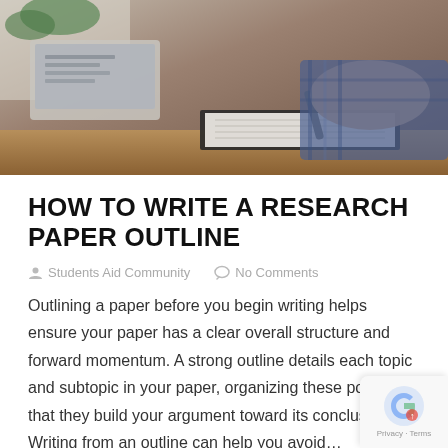[Figure (photo): Photo of a person's hand writing in a notebook at a desk with a laptop in the background, wearing a blue checkered shirt]
HOW TO WRITE A RESEARCH PAPER OUTLINE
Students Aid Community   No Comments
Outlining a paper before you begin writing helps ensure your paper has a clear overall structure and forward momentum. A strong outline details each topic and subtopic in your paper, organizing these points so that they build your argument toward its conclusion. Writing from an outline can help you avoid...